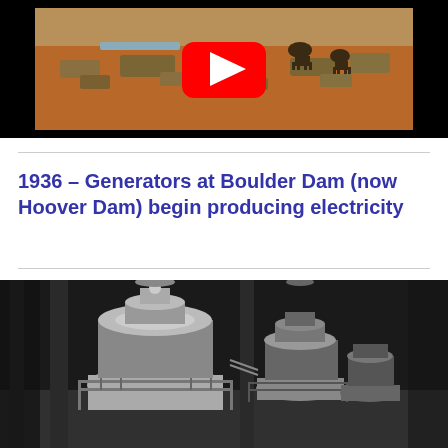[Figure (screenshot): YouTube video thumbnail showing a desert landscape with red earth, sparse shrubs, and animals (possibly cattle), with a YouTube play button overlay in the center. Black letterbox bars on top and bottom.]
1936 – Generators at Boulder Dam (now Hoover Dam) begin producing electricity
[Figure (photo): Black and white historical photograph showing the interior of a power generation facility at Boulder Dam (Hoover Dam), with large turbine generators visible in a row extending into the background. The generators have dome-shaped tops and are surrounded by metal railings and walkways.]